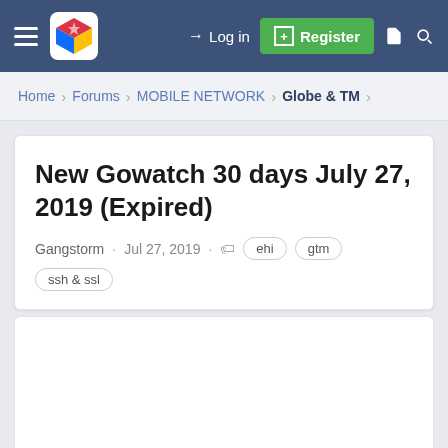[Figure (screenshot): Navigation bar with hamburger menu, cube logo, Login and Register buttons]
Home › Forums › MOBILE NETWORK › Globe & TM
New Gowatch 30 days July 27, 2019 (Expired)
Gangstorm · Jul 27, 2019 · ehi gtm ssh & ssl
[Figure (other): Empty white content area with scroll-to-top button]